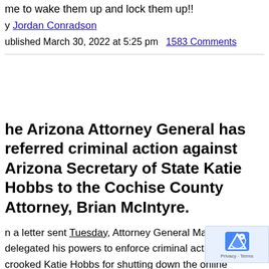me to wake them up and lock them up!!
y Jordan Conradson
ublished March 30, 2022 at 5:25 pm  1583 Comments
The Arizona Attorney General has referred criminal action against Arizona Secretary of State Katie Hobbs to the Cochise County Attorney, Brian McIntyre.
In a letter sent Tuesday, Attorney General Mark Brnovich delegated his powers to enforce criminal action against crooked Katie Hobbs for shutting down the online candidate petition portal and intentionally violating the law.
MCINTYRE NEEDS TO LOCK HER UP!